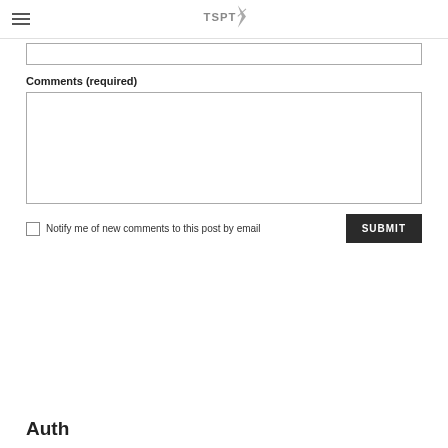TSPT logo and hamburger menu
Comments (required)
Notify me of new comments to this post by email
SUBMIT
Auth